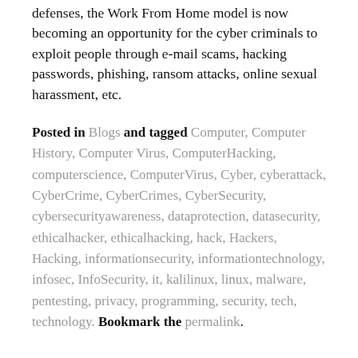defenses, the Work From Home model is now becoming an opportunity for the cyber criminals to exploit people through e-mail scams, hacking passwords, phishing, ransom attacks, online sexual harassment, etc.
Posted in Blogs and tagged Computer, Computer History, Computer Virus, ComputerHacking, computerscience, ComputerVirus, Cyber, cyberattack, CyberCrime, CyberCrimes, CyberSecurity, cybersecurityawareness, dataprotection, datasecurity, ethicalhacker, ethicalhacking, hack, Hackers, Hacking, informationsecurity, informationtechnology, infosec, InfoSecurity, it, kalilinux, linux, malware, pentesting, privacy, programming, security, tech, technology. Bookmark the permalink.